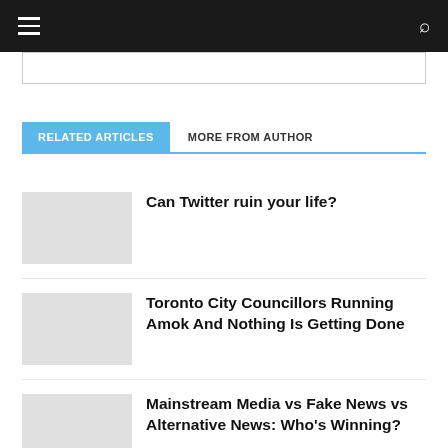Navigation bar with hamburger menu and search icon
RELATED ARTICLES   MORE FROM AUTHOR
Can Twitter ruin your life?
Toronto City Councillors Running Amok And Nothing Is Getting Done
Mainstream Media vs Fake News vs Alternative News: Who's Winning?